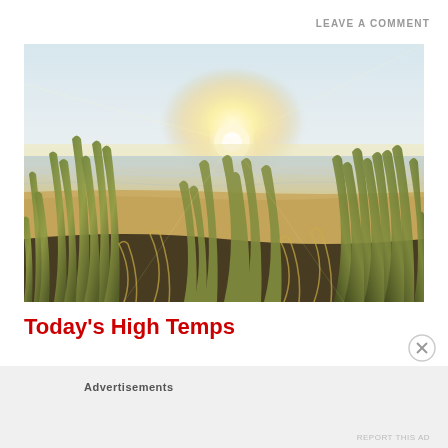LEAVE A COMMENT
[Figure (photo): Beach scene with tall grass in the foreground and sun glare over ocean water, shot from low angle looking through beach grass toward the horizon with bright sunlight]
Today’s High Temps
Advertisements
REPORT THIS AD